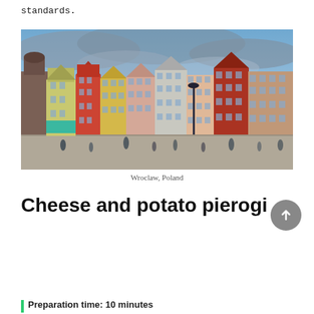standards.
[Figure (photo): Colorful historic townhouses lining a cobblestone market square in Wroclaw, Poland, with people walking in the foreground and a dramatic cloudy sky above.]
Wroclaw, Poland
Cheese and potato pierogi
Preparation time: 10 minutes